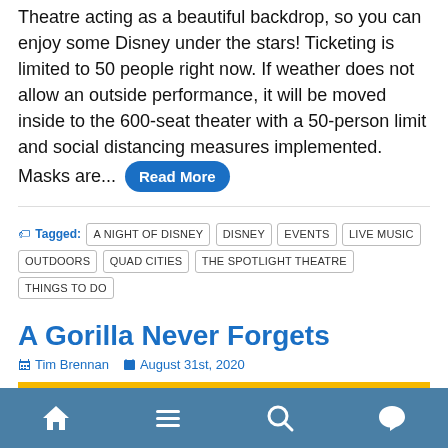Theatre acting as a beautiful backdrop, so you can enjoy some Disney under the stars! Ticketing is limited to 50 people right now. If weather does not allow an outside performance, it will be moved inside to the 600-seat theater with a 50-person limit and social distancing measures implemented. Masks are... [Read More]
Tagged: A NIGHT OF DISNEY | DISNEY | EVENTS | LIVE MUSIC | OUTDOORS | QUAD CITIES | THE SPOTLIGHT THEATRE | THINGS TO DO
A Gorilla Never Forgets
Tim Brennan  August 31st, 2020
[Figure (photo): Gorilla silhouettes against a golden/yellow background with a bird in flight, cinematic wildlife scene]
Navigation bar with home, menu, search, and chat icons